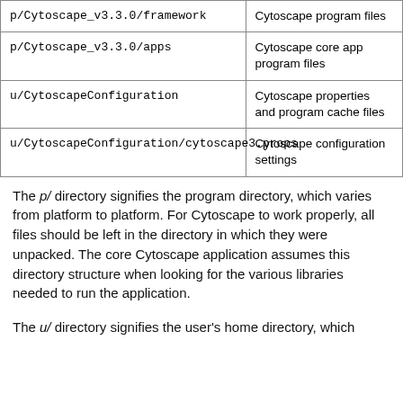| Path | Description |
| --- | --- |
| p/Cytoscape_v3.3.0/framework | Cytoscape program files |
| p/Cytoscape_v3.3.0/apps | Cytoscape core app program files |
| u/CytoscapeConfiguration | Cytoscape properties and program cache files |
| u/CytoscapeConfiguration/cytoscape3.props | Cytoscape configuration settings |
The p/ directory signifies the program directory, which varies from platform to platform. For Cytoscape to work properly, all files should be left in the directory in which they were unpacked. The core Cytoscape application assumes this directory structure when looking for the various libraries needed to run the application.
The u/ directory signifies the user's home directory, which